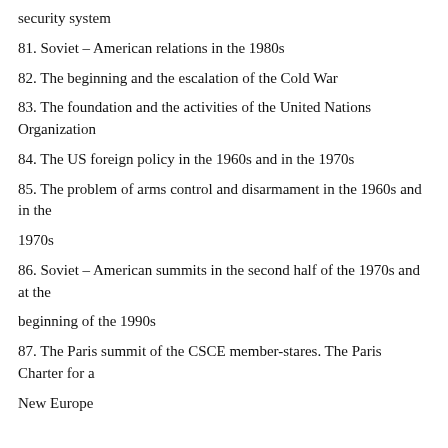security system
81. Soviet – American relations in the 1980s
82. The beginning and the escalation of the Cold War
83. The foundation and the activities of the United Nations Organization
84. The US foreign policy in the 1960s and in the 1970s
85. The problem of arms control and disarmament in the 1960s and in the
1970s
86. Soviet – American summits in the second half of the 1970s and at the
beginning of the 1990s
87. The Paris summit of the CSCE member-stares. The Paris Charter for a
New Europe